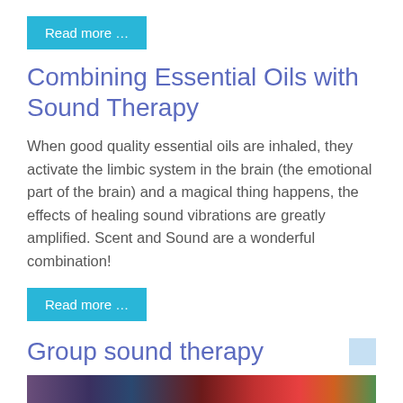Read more …
Combining Essential Oils with Sound Therapy
When good quality essential oils are inhaled, they activate the limbic system in the brain (the emotional part of the brain) and a magical thing happens, the effects of healing sound vibrations are greatly amplified. Scent and Sound are a wonderful combination!
Read more …
Group sound therapy
[Figure (photo): Colorful lights photo strip, partially visible at bottom of page]